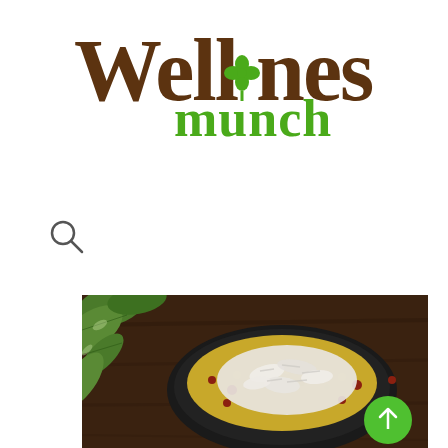[Figure (logo): Wellness Munch logo with brown stylized text 'Wellness' and green 'munch' text with a green clover/flower icon]
[Figure (other): Search magnifying glass icon]
[Figure (photo): A black bowl filled with yellow lentil or grain dish topped with white shredded coconut and red nuts/beans, placed on a dark wooden surface with green leafy plant in the background. A green circular scroll-up button is visible in the bottom right.]